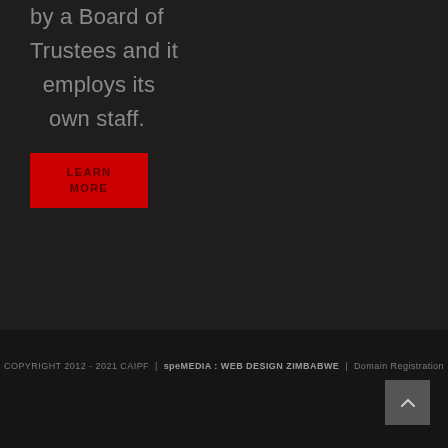by a Board of Trustees and it employs its own staff.
LEARN MORE
COPYRIGHT 2012 - 2021 CAIPF | speMEDIA : WEB DESIGN ZIMBABWE | Domain Registration